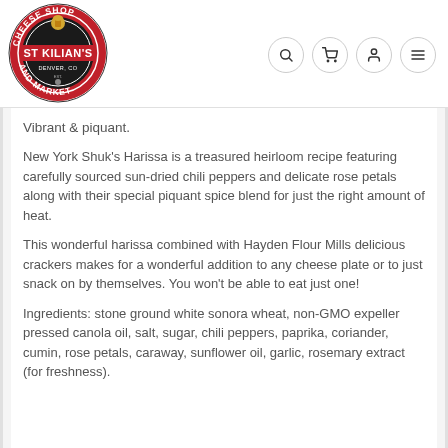[Figure (logo): St Kilian's Cheese Shop and Market circular logo with red and dark background, Denver CO]
Vibrant & piquant.
New York Shuk's Harissa is a treasured heirloom recipe featuring carefully sourced sun-dried chili peppers and delicate rose petals along with their special piquant spice blend for just the right amount of heat.
This wonderful harissa combined with Hayden Flour Mills delicious crackers makes for a wonderful addition to any cheese plate or to just snack on by themselves. You won't be able to eat just one!
Ingredients: stone ground white sonora wheat, non-GMO expeller pressed canola oil, salt, sugar, chili peppers, paprika, coriander, cumin, rose petals, caraway, sunflower oil, garlic, rosemary extract (for freshness).